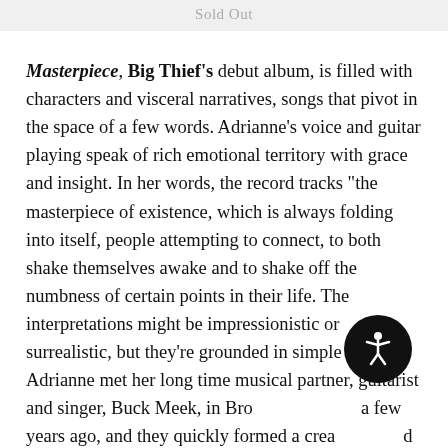Sold Out
Masterpiece, Big Thief's debut album, is filled with characters and visceral narratives, songs that pivot in the space of a few words. Adrianne's voice and guitar playing speak of rich emotional territory with grace and insight. In her words, the record tracks "the masterpiece of existence, which is always folding into itself, people attempting to connect, to both shake themselves awake and to shake off the numbness of certain points in their life. The interpretations might be impressionistic or surrealistic, but they're grounded in simple things. Adrianne met her long time musical partner, guitarist and singer, Buck Meek, in Brooklyn a few years ago, and they quickly formed a creative bond tempered by the experience of traveling and performing for months on end in old dive bars, yards,